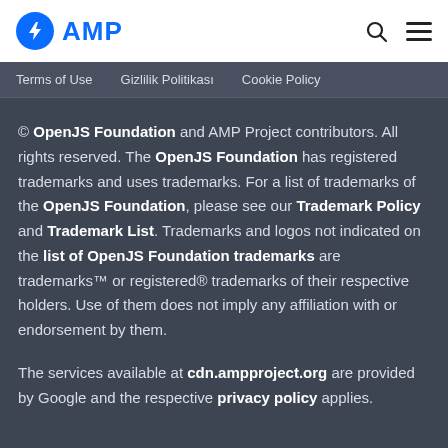AMP
Terms of Use   Gizlilik Politikası   Cookie Policy
© OpenJS Foundation and AMP Project contributors. All rights reserved. The OpenJS Foundation has registered trademarks and uses trademarks. For a list of trademarks of the OpenJS Foundation, please see our Trademark Policy and Trademark List. Trademarks and logos not indicated on the list of OpenJS Foundation trademarks are trademarks™ or registered® trademarks of their respective holders. Use of them does not imply any affiliation with or endorsement by them.
The services available at cdn.ampproject.org are provided by Google and the respective privacy policy applies.